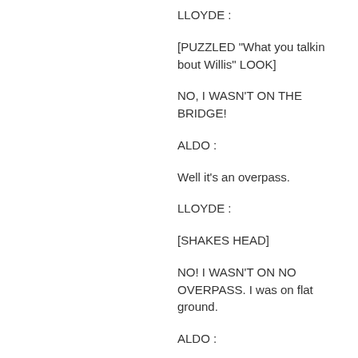LLOYDE :
[PUZZLED "What you talkin bout Willis" LOOK]
NO, I WASN'T ON THE BRIDGE!
ALDO :
Well it's an overpass.
LLOYDE :
[SHAKES HEAD]
NO! I WASN'T ON NO OVERPASS. I was on flat ground.
ALDO :